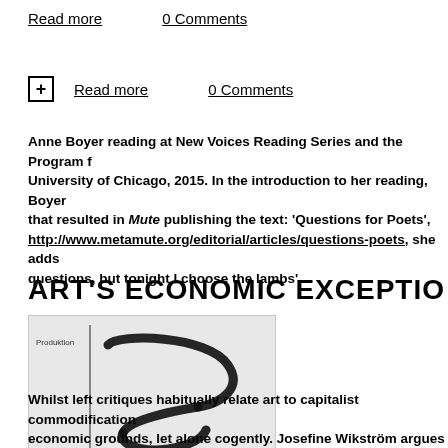Read more    0 Comments
+ Read more    0 Comments
Anne Boyer reading at New Voices Reading Series and the Program for the University of Chicago, 2015. In the introduction to her reading, Boyer described that resulted in Mute publishing the text: 'Questions for Poets', http://www.metamute.org/editorial/articles/questions-poets, she adds: 'questions, but tonight I choose the lambs'
ART'S ECONOMIC EXCEPTIO
[Figure (other): A diagram showing an S-curve drawn with black ink brush strokes on a light gray background, with axes labeled 'Produktion' (vertical) and 'Realkapital' (horizontal). A vertical and horizontal line form an axis cross in the lower-left area.]
Whilst left critiques habitually relate art to capitalist commodification, economic grounds, let alone cogently. Josefine Wikström argues that that fulfills exactly this task.